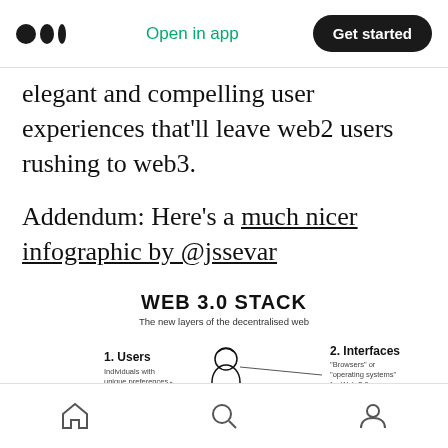Medium logo | Open in app | Get started
elegant and compelling user experiences that'll leave web2 users rushing to web3.
Addendum: Here's a much nicer infographic by @jssevar
[Figure (infographic): WEB 3.0 STACK infographic showing layers: 1. Users - Individuals with unique preferences & use cases; 2. Interfaces - 'Browsers' or 'operating systems' for Web 3.0; 3. Applications - Finance, games, marketplaces & all varieties of interactions; 4. Execution (partially visible). Shows a person sitting at a laptop inside an open box. Concepts by polynya, graphic by jssevar.]
Navigation bar with home, search, and profile icons